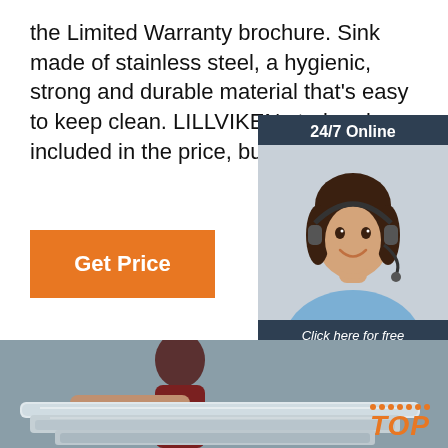the Limited Warranty brochure. Sink made of stainless steel, a hygienic, strong and durable material that's easy to keep clean. LILLVIKEN strainer is included in the price, but pa separately.
Get Price
[Figure (infographic): Chat widget with '24/7 Online' header, photo of a woman with headset, 'Click here for free chat!' text, and orange QUOTATION button]
[Figure (photo): Stainless steel sink being held by a person, showing the sink basin from above with a TOP badge in orange]